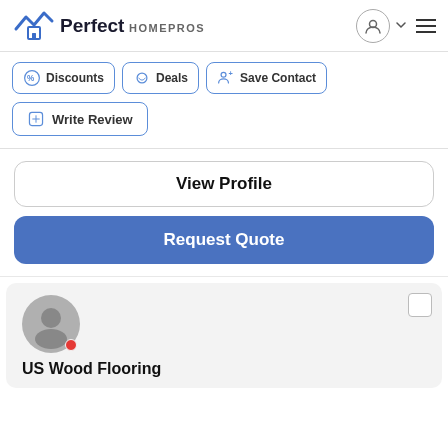Perfect HOMEPROS
Discounts
Deals
Save Contact
Write Review
View Profile
Request Quote
US Wood Flooring